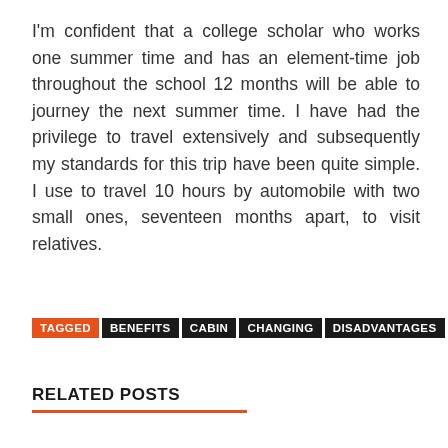I'm confident that a college scholar who works one summer time and has an element-time job throughout the school 12 months will be able to journey the next summer time. I have had the privilege to travel extensively and subsequently my standards for this trip have been quite simple. I use to travel 10 hours by automobile with two small ones, seventeen months apart, to visit relatives.
TAGGED BENEFITS CABIN CHANGING DISADVANTAGES
RELATED POSTS